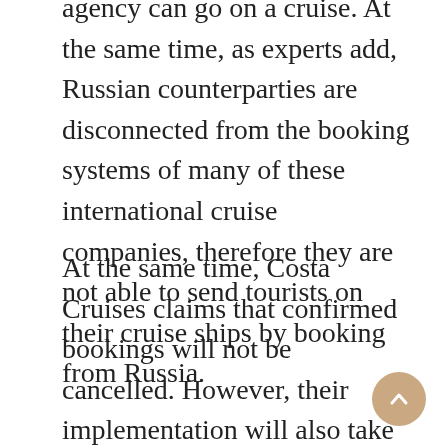agency can go on a cruise. At the same time, as experts add, Russian counterparties are disconnected from the booking systems of many of these international cruise companies, therefore they are not able to send tourists on their cruise ships by booking from Russia.
At the same time, Costa Cruises claims that confirmed bookings will not be cancelled. However, their implementation will also take into account some unclear “peculiarities of the sanctions regime in relation to payments, refunds and other issues that fall under the restriction,”